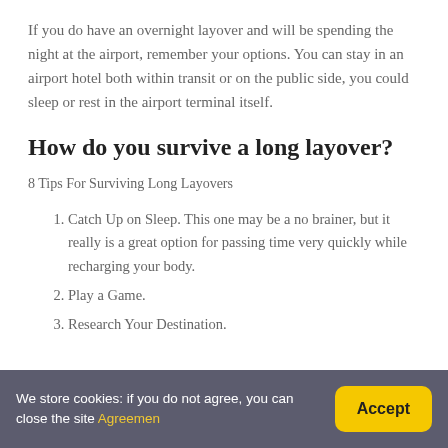If you do have an overnight layover and will be spending the night at the airport, remember your options. You can stay in an airport hotel both within transit or on the public side, you could sleep or rest in the airport terminal itself.
How do you survive a long layover?
8 Tips For Surviving Long Layovers
Catch Up on Sleep. This one may be a no brainer, but it really is a great option for passing time very quickly while recharging your body.
Play a Game.
Research Your Destination.
We store cookies: if you do not agree, you can close the site Agreemen